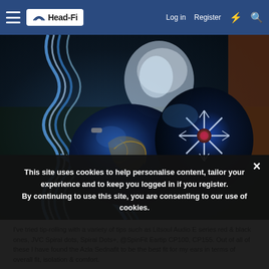Head-Fi | Log in | Register
[Figure (photo): Close-up photo of in-ear monitors (IEMs) with blue braided cable. The IEM shells are dark blue/black with decorative snowflake-like gold and white patterns. The cable is twisted blue and silver/white braided. Shot on a dark green surface with orange accent in background.]
I've tried tip-rolling with a variety of tips such as Litsoul Audio E series red & black ones, JVC Spiral dots, Spiral Dots+, @SpinFit Eartip CP100, CP155. Out of all of these I have found the Azla Sednafit to be the best fit for my ears in terms of overall fit, isolation & comfort.
This site uses cookies to help personalise content, tailor your experience and to keep you logged in if you register. By continuing to use this site, you are consenting to our use of cookies.